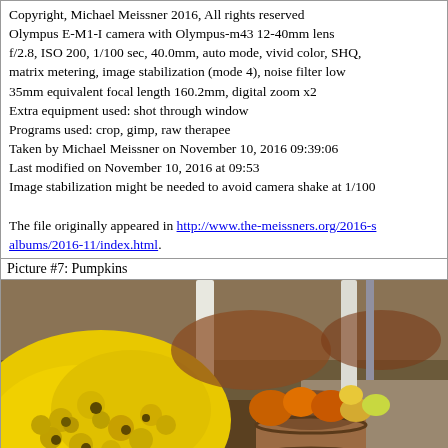Copyright, Michael Meissner 2016, All rights reserved
Olympus E-M1-I camera with Olympus-m43 12-40mm lens
f/2.8, ISO 200, 1/100 sec, 40.0mm, auto mode, vivid color, SHQ, matrix metering, image stabilization (mode 4), noise filter low
35mm equivalent focal length 160.2mm, digital zoom x2
Extra equipment used: shot through window
Programs used: crop, gimp, raw therapee
Taken by Michael Meissner on November 10, 2016 09:39:06
Last modified on November 10, 2016 at 09:53
Image stabilization might be needed to avoid camera shake at 1/100

The file originally appeared in http://www.the-meissners.org/2016-s albums/2016-11/index.html.
Picture #7: Pumpkins
[Figure (photo): Outdoor autumn harvest display with bright yellow chrysanthemum flowers in the foreground, pumpkins and gourds in a wooden barrel in the background, white fence posts, and fallen leaves on the ground.]